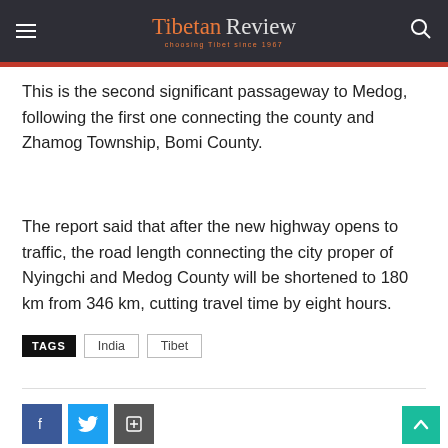Tibetan Review — Choosing Tibet since 1967
This is the second significant passageway to Medog, following the first one connecting the county and Zhamog Township, Bomi County.
The report said that after the new highway opens to traffic, the road length connecting the city proper of Nyingchi and Medog County will be shortened to 180 km from 346 km, cutting travel time by eight hours.
TAGS   India   Tibet